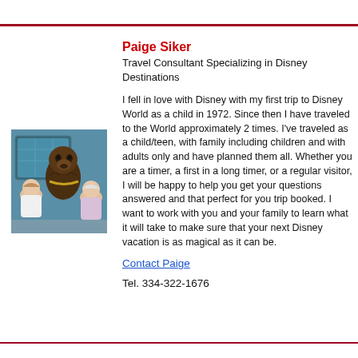Paige Siker
Travel Consultant Specializing in Disney Destinations
[Figure (photo): Photo of a child/young person and an older woman posing with Chewbacca character at Disney World, in front of a starfield/space-themed backdrop]
I fell in love with Disney with my first trip to Disney World as a child in 1972. Since then I have traveled to the World approximately 2 times. I've traveled as a child/teen, with family including children and with adults only and have planned them all. Whether you are a timer, a first in a long timer, or a regular visitor, I will be happy to help you get your questions answered and that perfect for you trip booked. I want to work with you and your family to learn what it will take to make sure that your next Disney vacation is as magical as it can be.
Contact Paige
Tel. 334-322-1676